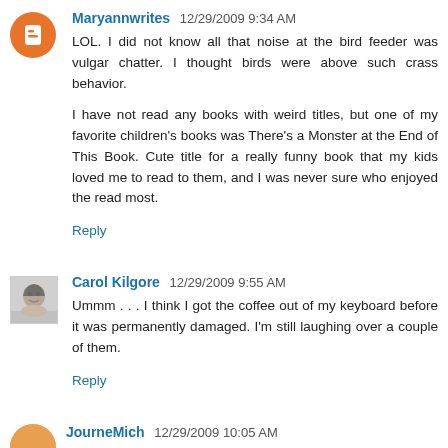[Figure (other): Blogger avatar: orange circle with white B logo]
Maryannwrites  12/29/2009 9:34 AM

LOL. I did not know all that noise at the bird feeder was vulgar chatter. I thought birds were above such crass behavior.

I have not read any books with weird titles, but one of my favorite children's books was There's a Monster at the End of This Book. Cute title for a really funny book that my kids loved me to read to them, and I was never sure who enjoyed the read most.

Reply
[Figure (photo): Small photo of Carol Kilgore, black and white headshot]
Carol Kilgore  12/29/2009 9:55 AM

Ummm . . . I think I got the coffee out of my keyboard before it was permanently damaged. I'm still laughing over a couple of them.

Reply
JourneMich  12/29/2009 10:05 AM